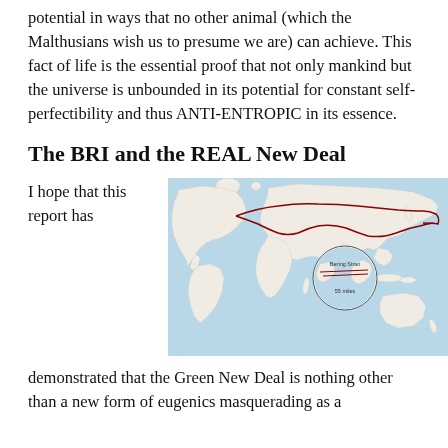potential in ways that no other animal (which the Malthusians wish us to presume we are) can achieve. This fact of life is the essential proof that not only mankind but the universe is unbounded in its potential for constant self-perfectibility and thus ANTI-ENTROPIC in its essence.
The BRI and the REAL New Deal
I hope that this report has
[Figure (map): World map showing BRI (Belt and Road Initiative) trade routes as red lines crossing Eurasia and connecting continents, with a circular inset showing a detail of the Bering Strait area labeled '55 miles' and 'Bering Strait'.]
demonstrated that the Green New Deal is nothing other than a new form of eugenics masquerading as a